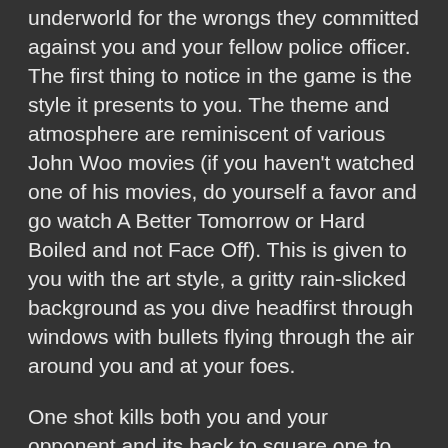underworld for the wrongs they committed against you and your fellow police officer. The first thing to notice in the game is the style it presents to you. The theme and atmosphere are reminiscent of various John Woo movies (if you haven't watched one of his movies, do yourself a favor and go watch A Better Tomorrow or Hard Boiled and not Face Off). This is given to you with the art style, a gritty rain-slicked background as you dive headfirst through windows with bullets flying through the air around you and at your foes.
One shot kills both you and your opponent and its back to square one to try it all over again. The dodge mechanic in the game allows for invincibly while dodging making the move not just stylish, but necessary at times to survive the onslaught of foes. Add to this the ability to slow time down and it can make a difficult situation, easy. Cutscenes are scattered